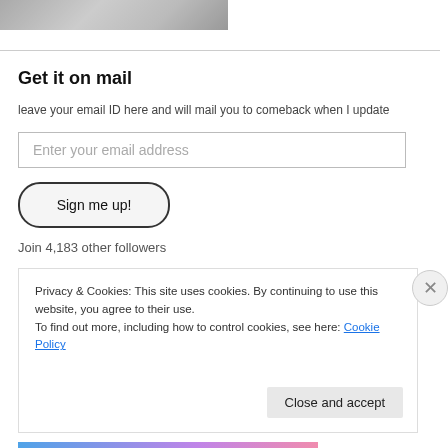[Figure (photo): Partial photo strip at top, grayscale image]
Get it on mail
leave your email ID here and will mail you to comeback when I update
Enter your email address
Sign me up!
Join 4,183 other followers
Privacy & Cookies: This site uses cookies. By continuing to use this website, you agree to their use.
To find out more, including how to control cookies, see here: Cookie Policy
Close and accept